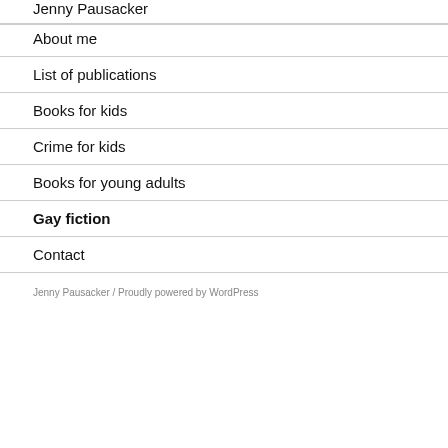Jenny Pausacker
About me
List of publications
Books for kids
Crime for kids
Books for young adults
Gay fiction
Contact
Jenny Pausacker / Proudly powered by WordPress